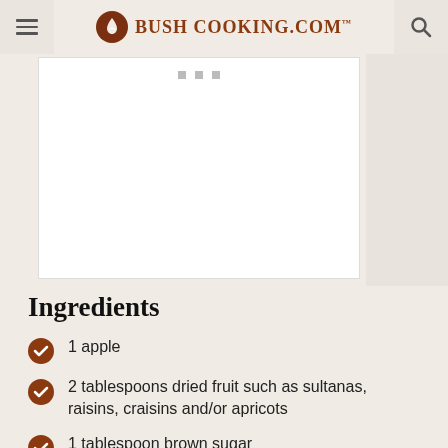Bush Cooking.com
[Figure (other): White image placeholder area with three small gray dots at top (slideshow indicator)]
Ingredients
1 apple
2 tablespoons dried fruit such as sultanas, raisins, craisins and/or apricots
1 tablespoon brown sugar